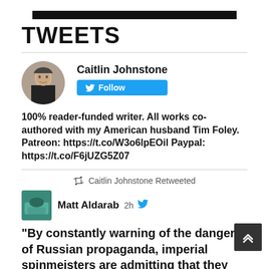TWEETS
Caitlin Johnstone
100% reader-funded writer. All works co-authored with my American husband Tim Foley. Patreon: https://t.co/W3o6lpEOil Paypal: https://t.co/F6jUZG5Z07
Caitlin Johnstone Retweeted
Matt Aldarab  2h
"By constantly warning of the dangers of Russian propaganda, imperial spinmeisters are admitting that they know it's possible to manipulate public